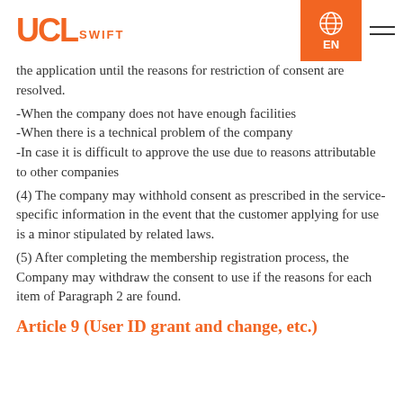UCL SWIFT — EN
the application until the reasons for restriction of consent are resolved.
-When the company does not have enough facilities
-When there is a technical problem of the company
-In case it is difficult to approve the use due to reasons attributable to other companies
(4) The company may withhold consent as prescribed in the service-specific information in the event that the customer applying for use is a minor stipulated by related laws.
(5) After completing the membership registration process, the Company may withdraw the consent to use if the reasons for each item of Paragraph 2 are found.
Article 9 (User ID grant and change, etc.)